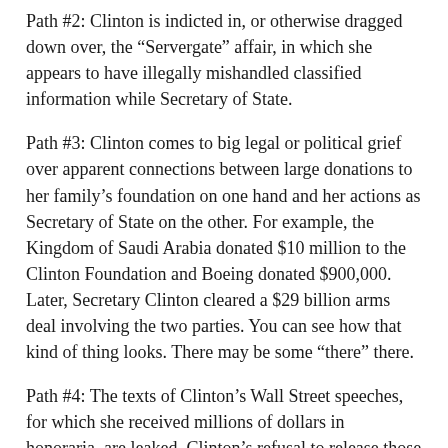Path #2: Clinton is indicted in, or otherwise dragged down over, the “Servergate” affair, in which she appears to have illegally mishandled classified information while Secretary of State.
Path #3: Clinton comes to big legal or political grief over apparent connections between large donations to her family’s foundation on one hand and her actions as Secretary of State on the other. For example, the Kingdom of Saudi Arabia donated $10 million to the Clinton Foundation and Boeing donated $900,000. Later, Secretary Clinton cleared a $29 billion arms deal involving the two parties. You can see how that kind of thing looks. There may be some “there” there.
Path #4: The texts of Clinton’s Wall Street speeches, for which she received millions of dollars in honoraria, are leaked. Clinton’s refusal to release those texts tells us that their release would be politically damaging. Everything comes to light sooner or later. If it’s sooner — that is, before July — we